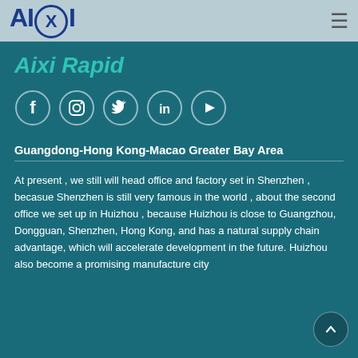AIXI
Aixi Rapid
[Figure (infographic): Row of social media icons: Facebook, Instagram, Twitter, LinkedIn, YouTube — each in a circular outline border on teal background]
Guangdong-Hong Kong-Macao Greater Bay Area
At present , we still will head office and factory set in Shenzhen , becasue Shenzhen is still very famous in the world , about the second office we set up in Huizhou , because Huizhou is close to Guangzhou, Dongguan, Shenzhen, Hong Kong, and has a natural supply chain advantage, which will accelerate development in the future. Huizhou also become a promising manufacture city...